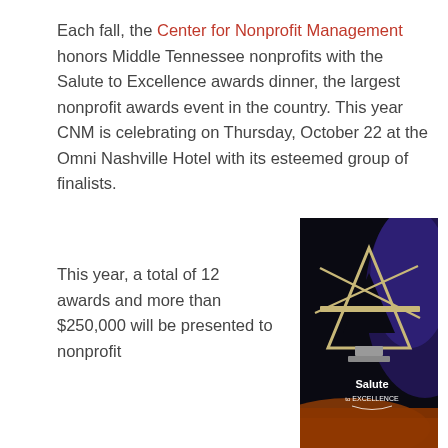Each fall, the Center for Nonprofit Management honors Middle Tennessee nonprofits with the Salute to Excellence awards dinner, the largest nonprofit awards event in the country. This year CNM is celebrating on Thursday, October 22 at the Omni Nashville Hotel with its esteemed group of finalists.
[Figure (photo): A metallic star-shaped award trophy on a dark background with colored lights. Text overlay reads 'Salute to EXCELLENCE' in white.]
This year, a total of 12 awards and more than $250,000 will be presented to nonprofit